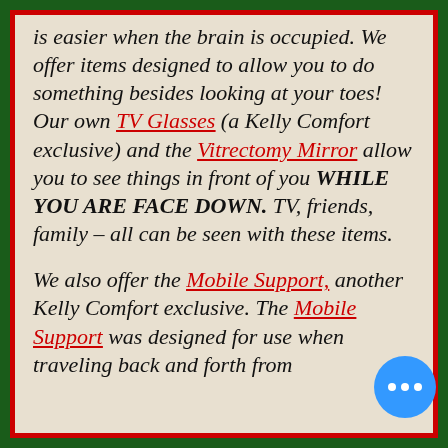is easier when the brain is occupied. We offer items designed to allow you to do something besides looking at your toes!  Our own TV Glasses (a Kelly Comfort exclusive) and the Vitrectomy Mirror allow you to see things in front of you WHILE YOU ARE FACE DOWN.  TV, friends, family – all can be seen with these items.

We also offer the Mobile Support, another Kelly Comfort exclusive.  The Mobile Support was designed for use when traveling back and forth from